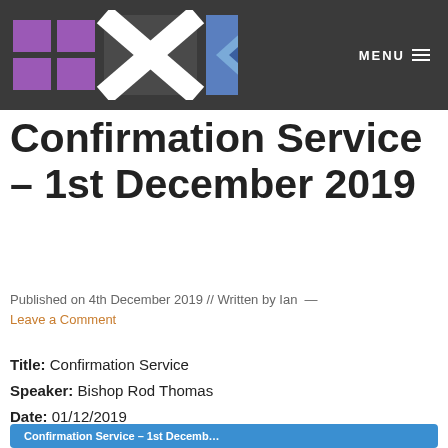MENU
Confirmation Service – 1st December 2019
Published on 4th December 2019 // Written by Ian — Leave a Comment
Title: Confirmation Service
Speaker: Bishop Rod Thomas
Date: 01/12/2019
Service: Sunday Evening
[Figure (other): Audio player widget with blue background showing 'Confirmation Service – 1st Decemb… Bishop Rod Thomas' and a play button]